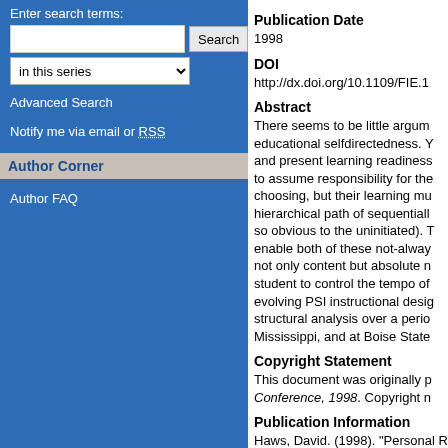Enter search terms:
in this series
Advanced Search
Notify me via email or RSS
Author Corner
Author FAQ
Publication Date
1998
DOI
http://dx.doi.org/10.1109/FIE.1
Abstract
There seems to be little argum... educational selfdirectedness. Y... and present learning readiness... to assume responsibility for the... choosing, but their learning mu... hierarchical path of sequentiall... so obvious to the uninitiated). T... enable both of these not-alway... not only content but absolute n... student to control the tempo of... evolving PSI instructional desig... structural analysis over a perio... Mississippi, and at Boise State...
Copyright Statement
This document was originally p... Conference, 1998. Copyright n...
Publication Information
Haws, David. (1998). "Personal R... Frontiers in Education Conferenc...